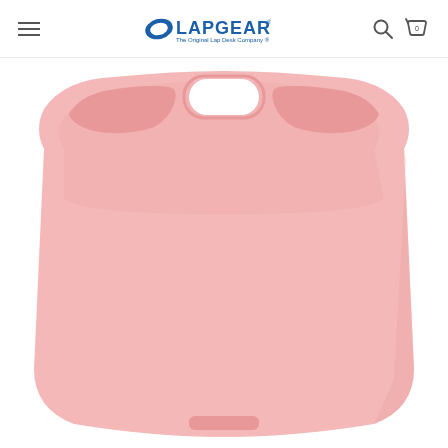LapGear - The Original Lap Desk Company
[Figure (photo): Pink LapGear lap desk product photo showing a rounded trapezoidal pink plastic lap desk with a carry handle cutout at the top center, two side recessed areas, and a small ridge at the bottom center, viewed from above against a white background.]